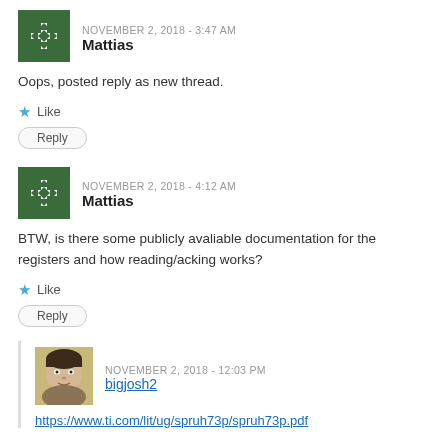[Figure (illustration): Green geometric avatar icon for user Mattias]
NOVEMBER 2, 2018 - 3:47 AM
Mattias
Oops, posted reply as new thread.
★ Like
Reply
[Figure (illustration): Green geometric avatar icon for user Mattias]
NOVEMBER 2, 2018 - 4:12 AM
Mattias
BTW, is there some publicly avaliable documentation for the registers and how reading/acking works?
★ Like
Reply
[Figure (photo): Avatar photo of user bigjosh2, a drawn illustration of a man's face]
NOVEMBER 2, 2018 - 12:03 PM
bigjosh2
https://www.ti.com/lit/ug/spruh73p/spruh73p.pdf